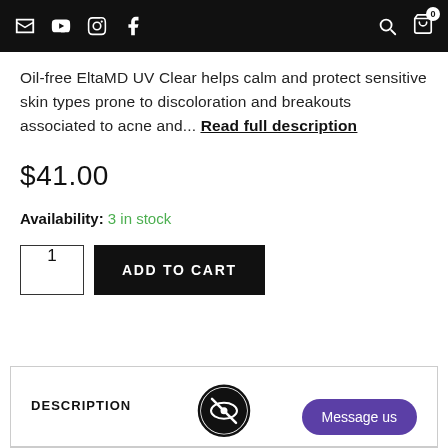Navigation header with icons: email, YouTube, Instagram, Facebook, search, cart (0)
Oil-free EltaMD UV Clear helps calm and protect sensitive skin types prone to discoloration and breakouts associated to acne and... Read full description
$41.00
Availability: 3 in stock
1  ADD TO CART
DESCRIPTION